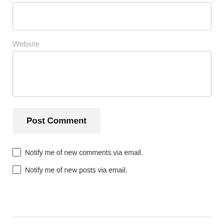Website
Post Comment
Notify me of new comments via email.
Notify me of new posts via email.